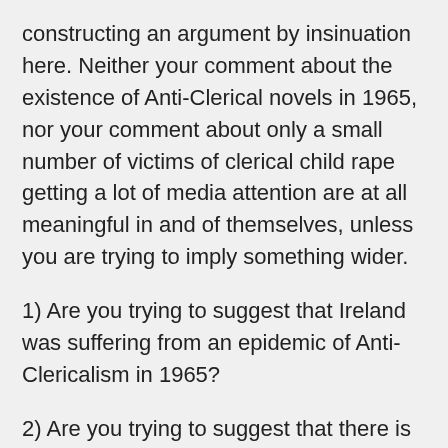constructing an argument by insinuation here. Neither your comment about the existence of Anti-Clerical novels in 1965, nor your comment about only a small number of victims of clerical child rape getting a lot of media attention are at all meaningful in and of themselves, unless you are trying to imply something wider.
1) Are you trying to suggest that Ireland was suffering from an epidemic of Anti-Clericalism in 1965?
2) Are you trying to suggest that there is a “silent majority” of those who have been raped or tortured as children by Clerics who are somehow still enormously sympathetic